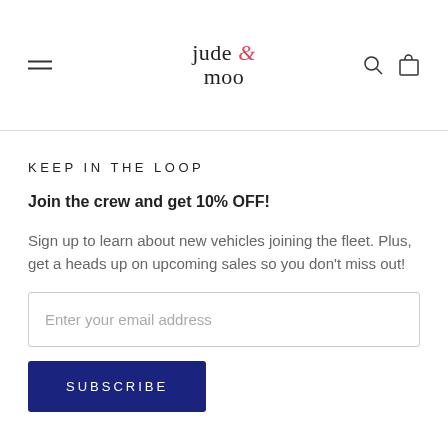jude & moo
KEEP IN THE LOOP
Join the crew and get 10% OFF!
Sign up to learn about new vehicles joining the fleet. Plus, get a heads up on upcoming sales so you don't miss out!
Enter your email address
SUBSCRIBE